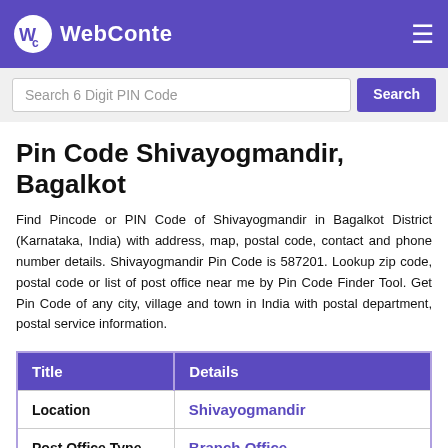WebConte
Pin Code Shivayogmandir, Bagalkot
Find Pincode or PIN Code of Shivayogmandir in Bagalkot District (Karnataka, India) with address, map, postal code, contact and phone number details. Shivayogmandir Pin Code is 587201. Lookup zip code, postal code or list of post office near me by Pin Code Finder Tool. Get Pin Code of any city, village and town in India with postal department, postal service information.
| Title | Details |
| --- | --- |
| Location | Shivayogmandir |
| Post Office Type | Branch Office |
| Pin Code | 587201  Copy |